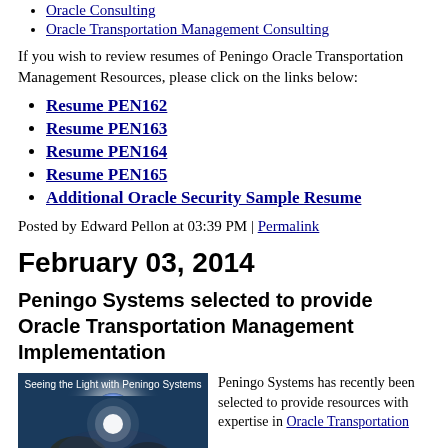Oracle Consulting
Oracle Transportation Management Consulting
If you wish to review resumes of Peningo Oracle Transportation Management Resources, please click on the links below:
Resume PEN162
Resume PEN163
Resume PEN164
Resume PEN165
Additional Oracle Security Sample Resume
Posted by Edward Pellon at 03:39 PM | Permalink
February 03, 2014
Peningo Systems selected to provide Oracle Transportation Management Implementation
[Figure (photo): Photo with caption 'Seeing the Light with Peningo Systems' showing people with a bright light glow]
Peningo Systems has recently been selected to provide resources with expertise in Oracle Transportation Management (OTM)